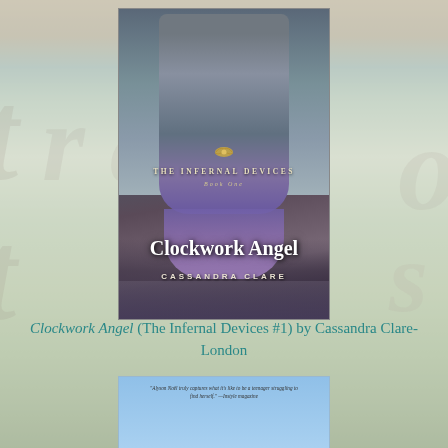[Figure (illustration): Book cover of 'Clockwork Angel' by Cassandra Clare, The Infernal Devices Book One. Shows a figure in Victorian-era gray coat with Big Ben in background and a golden bird emblem. Title in white serif text, author name in spaced capital letters.]
Clockwork Angel (The Infernal Devices #1) by Cassandra Clare- London
[Figure (illustration): Book cover of 'Cruel Summer' by Alyson Noël. Light blue background with a quote at top, 'a novel' subtitle, title in large bold black text, author name in pink/mauve text.]